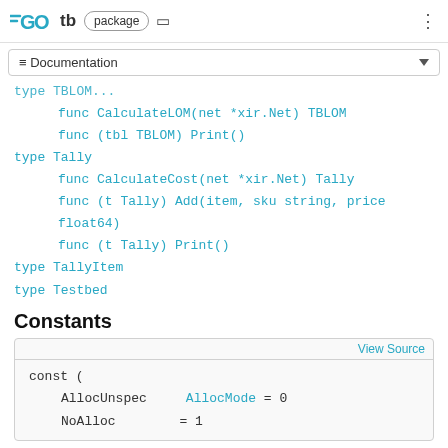GO tb package
≡ Documentation
type TBLOM (partial)
func CalculateLOM(net *xir.Net) TBLOM
func (tbl TBLOM) Print()
type Tally
func CalculateCost(net *xir.Net) Tally
func (t Tally) Add(item, sku string, price float64)
func (t Tally) Print()
type TallyItem
type Testbed
Constants
View Source
const (
    AllocUnspec  AllocMode = 0
    NoAlloc               = 1
)